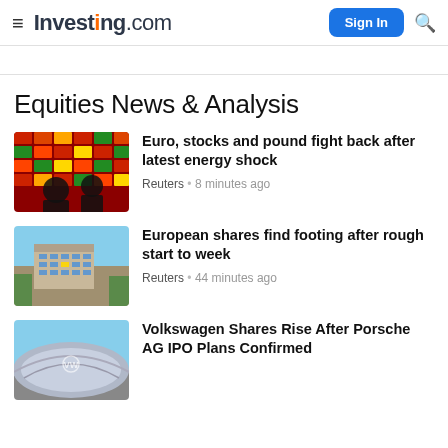Investing.com — Sign In
Equities News & Analysis
[Figure (photo): Stock market board with red and green LED tickers, person silhouetted in front]
Euro, stocks and pound fight back after latest energy shock — Reuters · 8 minutes ago
[Figure (photo): European Union Berlaymont building under blue sky]
European shares find footing after rough start to week — Reuters · 44 minutes ago
[Figure (photo): Volkswagen vehicle roof curved metallic detail]
Volkswagen Shares Rise After Porsche AG IPO Plans Confirmed